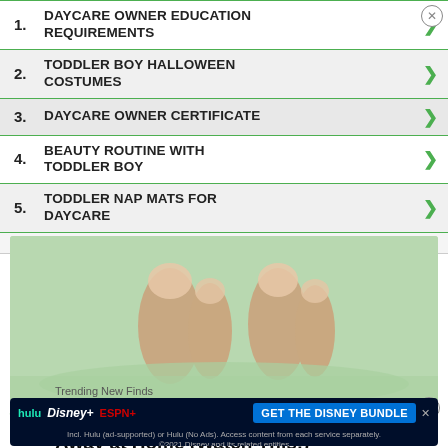1. DAYCARE OWNER EDUCATION REQUIREMENTS
You'll be like walking on a Cloud in These Shoes
2. TODDLER BOY HALLOWEEN COSTUMES
3. DAYCARE OWNER CERTIFICATE
4. BEAUTY ROUTINE WITH TODDLER BOY
5. TODDLER NAP MATS FOR DAYCARE
Sponsored | An AMG Site
[Figure (photo): Two feet with toenails soaking in green liquid in a bowl]
Toenail Fungus? Do This to Flush It Away at Home (Watch This!)
Trending New Finds
[Figure (infographic): Disney Bundle advertisement banner with Hulu, Disney+, ESPN+ logos and 'GET THE DISNEY BUNDLE' CTA. Fine print: Incl. Hulu (ad-supported) or Hulu (No Ads). Access content from each service separately. ©2021 Disney and its related entities]